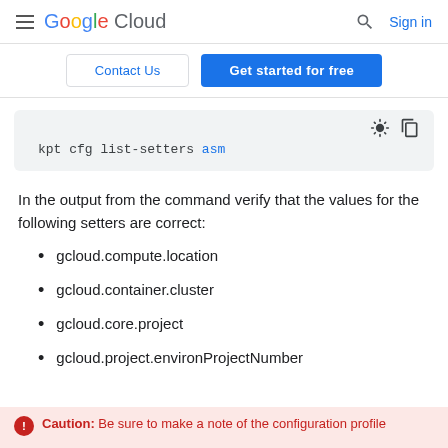Google Cloud  Sign in
Contact Us  Get started for free
kpt cfg list-setters asm
In the output from the command verify that the values for the following setters are correct:
gcloud.compute.location
gcloud.container.cluster
gcloud.core.project
gcloud.project.environProjectNumber
Caution: Be sure to make a note of the configuration profile